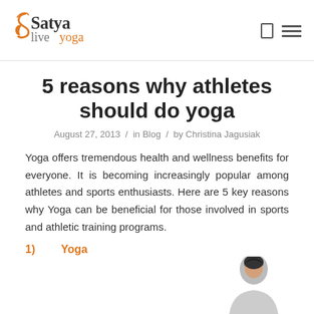Satya live yoga
5 reasons why athletes should do yoga
August 27, 2013 / in Blog / by Christina Jagusiak
Yoga offers tremendous health and wellness benefits for everyone. It is becoming increasingly popular among athletes and sports enthusiasts. Here are 5 key reasons why Yoga can be beneficial for those involved in sports and athletic training programs.
1)   Yoga
[Figure (photo): Partial photo of a person, likely an athlete, cut off at bottom right of page]